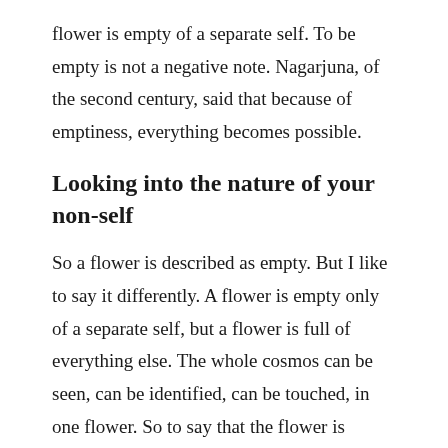flower is empty of a separate self. To be empty is not a negative note. Nagarjuna, of the second century, said that because of emptiness, everything becomes possible.
Looking into the nature of your non-self
So a flower is described as empty. But I like to say it differently. A flower is empty only of a separate self, but a flower is full of everything else. The whole cosmos can be seen, can be identified, can be touched, in one flower. So to say that the flower is empty of a separate self also means that the flower is full of the cosmos.